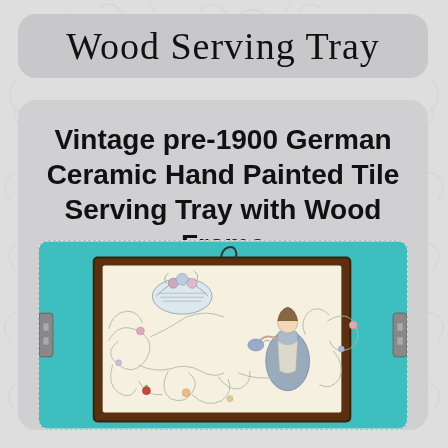Wood Serving Tray
Vintage pre-1900 German Ceramic Hand Painted Tile Serving Tray with Wood Frame
[Figure (photo): Photo of a vintage pre-1900 German ceramic hand painted tile serving tray with dark wood frame. The tray features an intricate blue and white hand-painted scene with a woman figure, floral scrollwork, and decorative patterns. The tray is shown mounted on a teal/turquoise colored stand with metal hardware.]